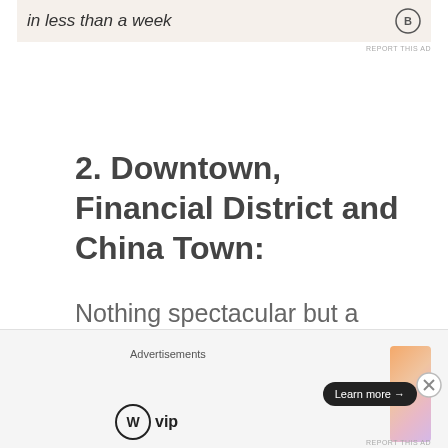[Figure (other): Top ad banner with text 'in less than a week' and a circular icon, on a beige/cream background with REPORT THIS AD label]
2. Downtown, Financial District and China Town:
Nothing spectacular but a should-do, I guess. A must-do for me was to go shopping at a yoga brand clothing shop that we don't have here in South Africa, hence going downtown had to be done.
[Figure (other): Bottom advertisements bar with WordPress VIP logo and a gradient orange-pink ad banner with Learn more button, and a close (X) button]